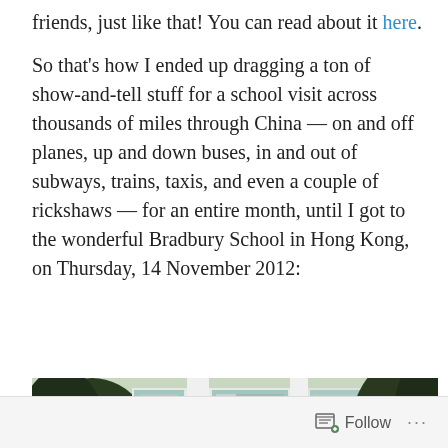friends, just like that! You can read about it here.

So that's how I ended up dragging a ton of show-and-tell stuff for a school visit across thousands of miles through China — on and off planes, up and down buses, in and out of subways, trains, taxis, and even a couple of rickshaws — for an entire month, until I got to the wonderful Bradbury School in Hong Kong, on Thursday, 14 November 2012:
[Figure (photo): Photo of the Bradbury School building in Hong Kong — a multi-story building with light blue/teal and white facade, large windows, viewed from below at an angle with trees in the foreground]
Follow ···